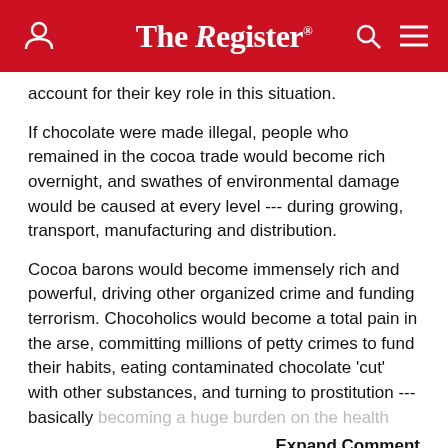The Register
account for their key role in this situation.
If chocolate were made illegal, people who remained in the cocoa trade would become rich overnight, and swathes of environmental damage would be caused at every level --- during growing, transport, manufacturing and distribution.
Cocoa barons would become immensely rich and powerful, driving other organized crime and funding terrorism. Chocoholics would become a total pain in the arse, committing millions of petty crimes to fund their habits, eating contaminated chocolate 'cut' with other substances, and turning to prostitution --- basically becoming a huge burden on the health...
Expand Comment
0  0
Sunday 30th March 2008 17:20 GMT
Insane Reindeer